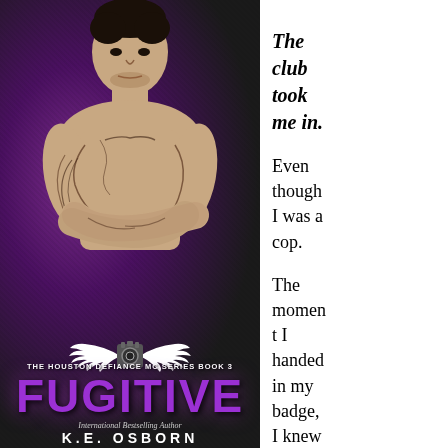[Figure (illustration): Book cover for 'Fugitive' - The Houston Defiance MC Series Book 3 by an International Bestselling Author. Shows a muscular tattooed shirtless man with arms crossed against a dark purple smoky background. Large purple title 'FUGITIVE' at bottom. Wings and engine logo above the series text.]
The club took me in. Even though I was a cop. The moment I handed in my badge, I knew becomi